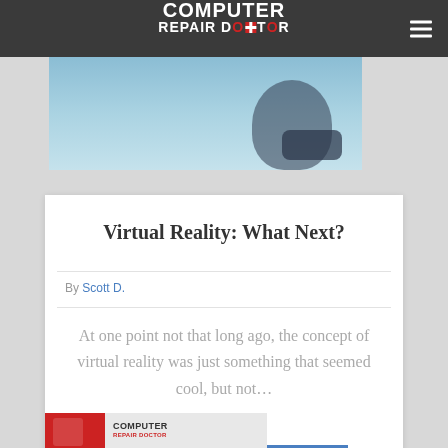COMPUTER REPAIR DOCTOR
[Figure (photo): Hero banner image with blurred blue-gray background, partial view of a VR headset]
Virtual Reality: What Next?
By Scott D.
At one point not that long ago, the concept of virtual reality was just something that seemed cool, but not...
CONTINUE READING
[Figure (photo): Bottom card preview showing Computer Repair Doctor advertisement with smartphone image]